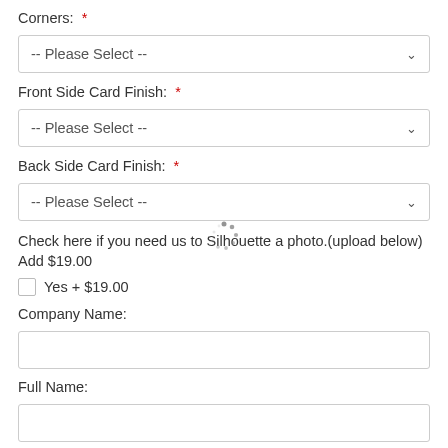Corners: *
-- Please Select --
Front Side Card Finish: *
-- Please Select --
Back Side Card Finish: *
-- Please Select --
Check here if you need us to Silhouette a photo.(upload below) Add $19.00
Yes + $19.00
Company Name:
Full Name: